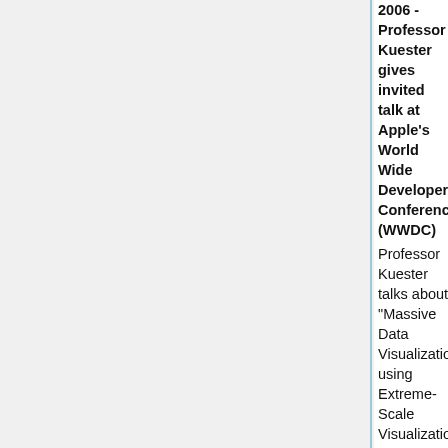2006 - Professor Kuester gives invited talk at Apple's World Wide Developers Conference (WWDC)
Professor Kuester talks about "Massive Data Visualization using Extreme-Scale Visualization Systems" in the Scientific Computing Track at